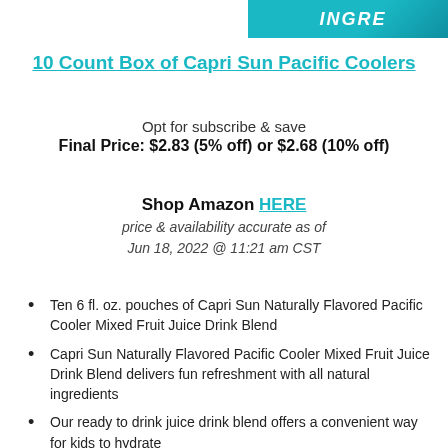[Figure (illustration): Partial banner/header image with teal background and white bold italic text reading 'INGRE...' (partially cropped)]
10 Count Box of Capri Sun Pacific Coolers
Opt for subscribe & save
Final Price: $2.83 (5% off) or $2.68 (10% off)
Shop Amazon HERE
price & availability accurate as of
Jun 18, 2022 @ 11:21 am CST
Ten 6 fl. oz. pouches of Capri Sun Naturally Flavored Pacific Cooler Mixed Fruit Juice Drink Blend
Capri Sun Naturally Flavored Pacific Cooler Mixed Fruit Juice Drink Blend delivers fun refreshment with all natural ingredients
Our ready to drink juice drink blend offers a convenient way for kids to hydrate
A blast of mixed fruit flavor from natural ingredients